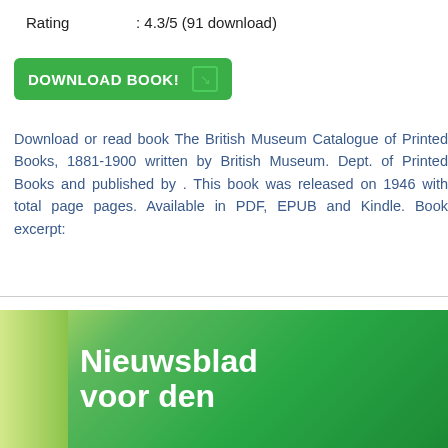Rating : 4.3/5 (91 download)
[Figure (other): Green download button with text 'DOWNLOAD BOOK!' and an arrow icon]
Download or read book The British Museum Catalogue of Printed Books, 1881-1900 written by British Museum. Dept. of Printed Books and published by . This book was released on 1946 with total page pages. Available in PDF, EPUB and Kindle. Book excerpt:
[Figure (illustration): Book cover with green gradient background showing title 'Nieuwsblad voor den' in white bold text, partially cut off at bottom]